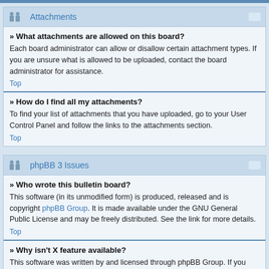Attachments
» What attachments are allowed on this board?
Each board administrator can allow or disallow certain attachment types. If you are unsure what is allowed to be uploaded, contact the board administrator for assistance.
Top
» How do I find all my attachments?
To find your list of attachments that you have uploaded, go to your User Control Panel and follow the links to the attachments section.
Top
phpBB 3 Issues
» Who wrote this bulletin board?
This software (in its unmodified form) is produced, released and is copyright phpBB Group. It is made available under the GNU General Public License and may be freely distributed. See the link for more details.
Top
» Why isn't X feature available?
This software was written by and licensed through phpBB Group. If you believe a feature needs to be added, please visit the phpbb.com website and